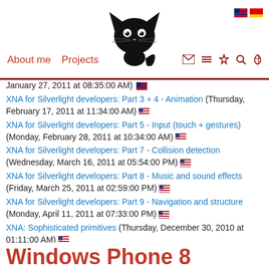About me  Projects
XNA for Silverlight developers: Part 3 + 4 - Animation (Thursday, February 17, 2011 at 11:34:00 AM)
XNA for Silverlight developers: Part 5 - Input (touch + gestures) (Monday, February 28, 2011 at 10:34:00 AM)
XNA for Silverlight developers: Part 7 - Collision detection (Wednesday, March 16, 2011 at 05:54:00 PM)
XNA for Silverlight developers: Part 8 - Music and sound effects (Friday, March 25, 2011 at 02:59:00 PM)
XNA for Silverlight developers: Part 9 - Navigation and structure (Monday, April 11, 2011 at 07:33:00 PM)
XNA: Sophisticated primitives (Thursday, December 30, 2010 at 01:11:00 AM)
YLOD 1.2 adds support for passwords (Sunday, April 21, 2013 at 12:24:49 PM)
Windows Phone 8